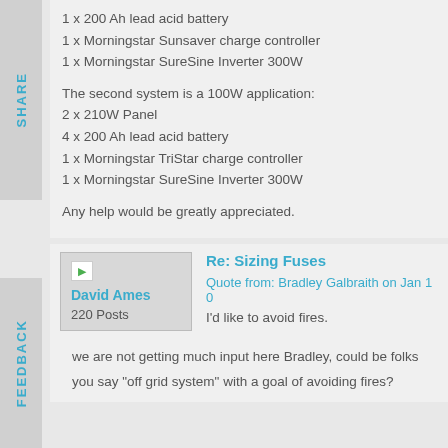1 x 200 Ah lead acid battery
1 x Morningstar Sunsaver charge controller
1 x Morningstar SureSine Inverter 300W
The second system is a 100W application:
2 x 210W Panel
4 x 200 Ah lead acid battery
1 x Morningstar TriStar charge controller
1 x Morningstar SureSine Inverter 300W
Any help would be greatly appreciated.
David Ames
220 Posts
Re: Sizing Fuses
Quote from: Bradley Galbraith on Jan 10
I'd like to avoid fires.
we are not getting much input here Bradley, could be folks
you say "off grid system" with a goal of avoiding fires?